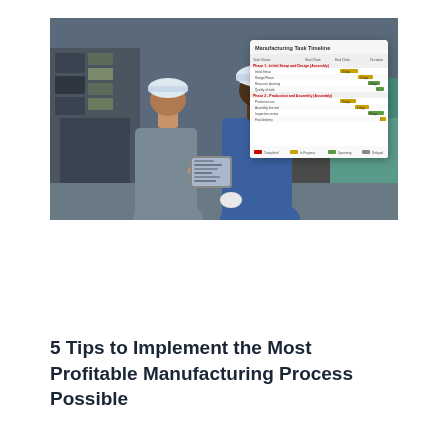[Figure (photo): Two male factory workers in hard hats and coveralls looking at a tablet in an industrial setting. One wears grey coveralls, the other blue. In the background, a manufacturing task timeline (Gantt chart) is overlaid showing scheduled tasks with colored bars.]
5 Tips to Implement the Most Profitable Manufacturing Process Possible